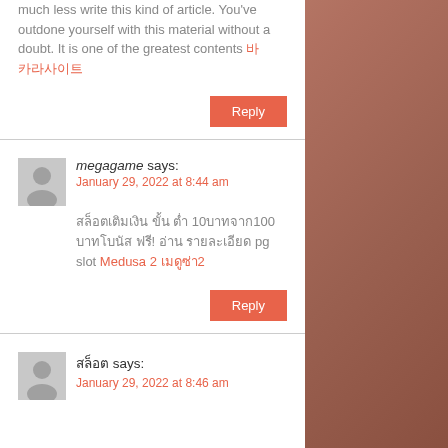much less write this kind of article. You've outdone yourself with this material without a doubt. It is one of the greatest contents 바카라사이트
Reply
megagame says: January 29, 2022 at 8:44 am
สล็อตเติมเงิน ขั้น ต่ำ 10บาทจาก100 บาทโบนัส ฟรี! อ่าน รายละเอียด pg slot Medusa 2 เมดูซ่า2
Reply
สล็อต says: January 29, 2022 at 8:46 am